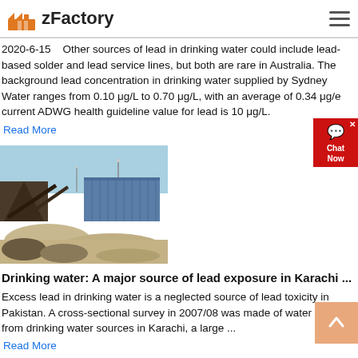zFactory
2020-6-15    Other sources of lead in drinking water could include lead-based solder and lead service lines, but both are rare in Australia. The background lead concentration in drinking water supplied by Sydney Water ranges from 0.10 μg/L to 0.70 μg/L, with an average of 0.34 μg/... e current ADWG health guideline value for lead is 10 μg/L.
Read More
[Figure (photo): Industrial facility with conveyor belts and machinery, likely a quarry or crushing plant, with sand/gravel piles in the foreground and a blue corrugated building in the background under a clear sky.]
Drinking water: A major source of lead exposure in Karachi ...
Excess lead in drinking water is a neglected source of lead toxicity in Pakistan. A cross-sectional survey in 2007/08 was made of water samples from drinking water sources in Karachi, a large ...
Read More